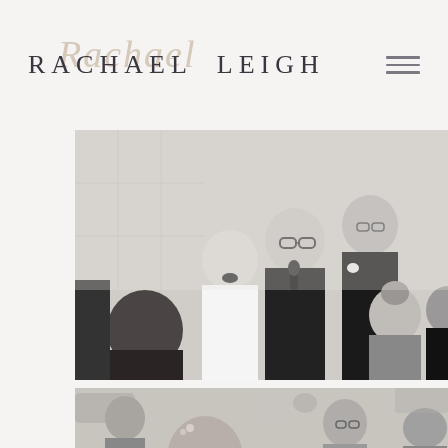RACHAEL LEIGH
[Figure (photo): Black and white wedding reception photo showing a man in a suit speaking into a microphone, a laughing bride in white, and a groom, with seated guests in the foreground and background.]
[Figure (photo): Black and white photo of wedding reception guests seated at tables, featuring a smiling woman with a hair accessory in the foreground and other guests in the background.]